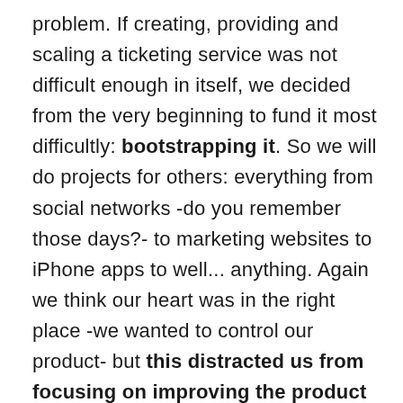problem. If creating, providing and scaling a ticketing service was not difficult enough in itself, we decided from the very beginning to fund it most difficultly: bootstrapping it. So we will do projects for others: everything from social networks -do you remember those days?- to marketing websites to iPhone apps to well... anything. Again we think our heart was in the right place -we wanted to control our product- but this distracted us from focusing on improving the product itself since there was always a fire to extinguish on client or a new project to start.